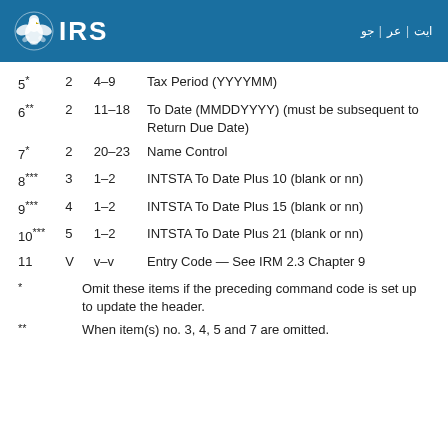IRS
| # | Seg | Position | Description |
| --- | --- | --- | --- |
| 5* | 2 | 4–9 | Tax Period (YYYYMM) |
| 6** | 2 | 11–18 | To Date (MMDDYYYY) (must be subsequent to Return Due Date) |
| 7* | 2 | 20–23 | Name Control |
| 8*** | 3 | 1–2 | INTSTA To Date Plus 10 (blank or nn) |
| 9*** | 4 | 1–2 | INTSTA To Date Plus 15 (blank or nn) |
| 10*** | 5 | 1–2 | INTSTA To Date Plus 21 (blank or nn) |
| 11 | V | v–v | Entry Code — See IRM 2.3 Chapter 9 |
* Omit these items if the preceding command code is set up to update the header.
** When item(s) no. 3, 4, 5 and 7 are omitted.